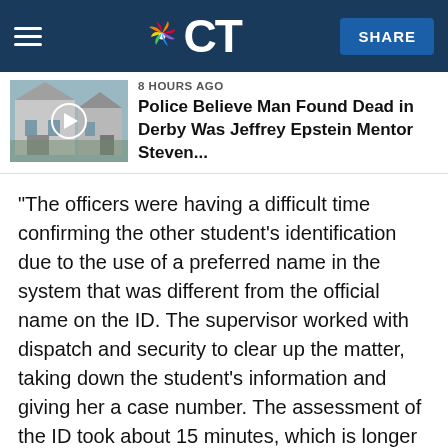NBC CT — SHARE
[Figure (screenshot): NBC Connecticut mobile app navigation bar with peacock logo and CT text, hamburger menu on left, SHARE button on right]
[Figure (photo): Thumbnail image of a house in Derby with play button overlay, labeled 8 HOURS AGO, headline: Police Believe Man Found Dead in Derby Was Jeffrey Epstein Mentor Steven...]
“The officers were having a difficult time confirming the other student’s identification due to the use of a preferred name in the system that was different from the official name on the ID. The supervisor worked with dispatch and security to clear up the matter, taking down the student’s information and giving her a case number. The assessment of the ID took about 15 minutes, which is longer than usual,” read a statement from Yale Police Chief Ronnell Higgins.
The statement said that once officers determined that the woman was a student, they spoke to the caller and told her that the other party had the right to be there.